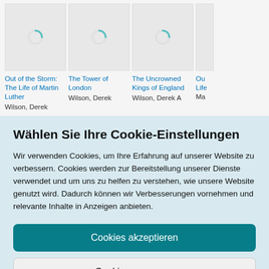[Figure (screenshot): Amazon website screenshot showing book thumbnails with loading spinners for Out of the Storm: The Life of Martin Luther by Wilson Derek, The Tower of London by Wilson Derek, The Uncrowned Kings of England by Wilson Derek A, and a partial fourth book]
Wählen Sie Ihre Cookie-Einstellungen
Wir verwenden Cookies, um Ihre Erfahrung auf unserer Website zu verbessern. Cookies werden zur Bereitstellung unserer Dienste verwendet und um uns zu helfen zu verstehen, wie unsere Website genutzt wird. Dadurch können wir Verbesserungen vornehmen und relevante Inhalte in Anzeigen anbieten.
Cookies akzeptieren
Cookies anpassen